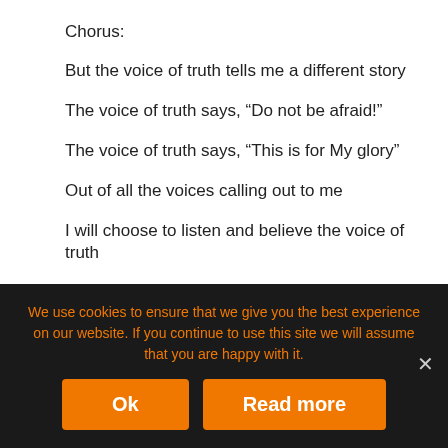Chorus:
But the voice of truth tells me a different story
The voice of truth says, “Do not be afraid!”
The voice of truth says, “This is for My glory”
Out of all the voices calling out to me
I will choose to listen and believe the voice of truth
Oh what I would do to have
The kind of strength it takes to stand before a giant
With just a sling and a stone
We use cookies to ensure that we give you the best experience on our website. If you continue to use this site we will assume that you are happy with it.